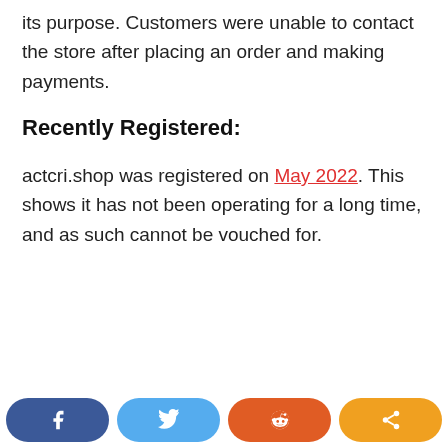its purpose. Customers were unable to contact the store after placing an order and making payments.
Recently Registered:
actcri.shop was registered on May 2022. This shows it has not been operating for a long time, and as such cannot be vouched for.